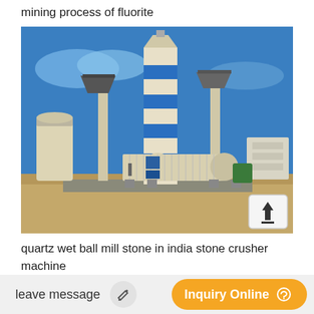mining process of fluorite
[Figure (photo): Outdoor industrial mining/milling facility with large blue and white cylindrical silo tower, ball mill equipment, conveyors, and various machinery under a blue sky.]
quartz wet ball mill stone in india stone crusher machine
leave message   Inquiry Online